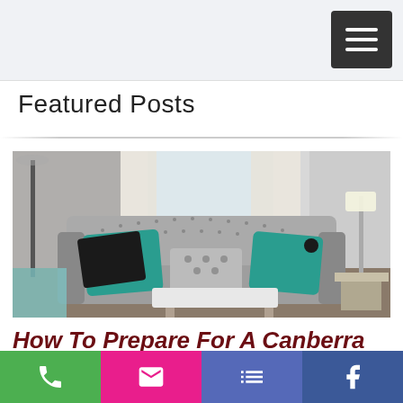Navigation bar with hamburger menu button
Featured Posts
[Figure (photo): Living room interior with a grey tufted sofa, teal and patterned cushions, white curtains, a floor lamp, and a white coffee table]
How To Prepare For A Canberra
Action bar with phone, email, list, and Facebook buttons